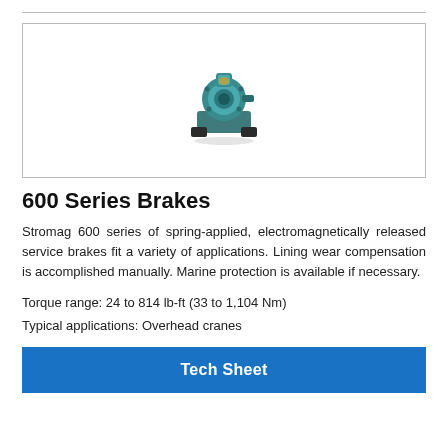[Figure (photo): Photo of a teal/green Stromag 600 Series electromagnetic brake unit on a dark base, shown from a slight angle]
600 Series Brakes
Stromag 600 series of spring-applied, electromagnetically released service brakes fit a variety of applications. Lining wear compensation is accomplished manually. Marine protection is available if necessary.
Torque range: 24 to 814 lb-ft (33 to 1,104 Nm)
Typical applications: Overhead cranes
Tech Sheet